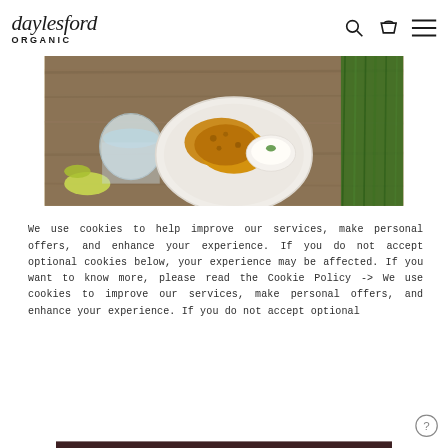daylesford ORGANIC
[Figure (photo): Food photo showing fried/breaded dish on a white plate with dipping sauce, a glass, zucchini, and green herbs/chives on a wooden surface]
We use cookies to help improve our services, make personal offers, and enhance your experience. If you do not accept optional cookies below, your experience may be affected. If you want to know more, please read the Cookie Policy -> We use cookies to improve our services, make personal offers, and enhance your experience. If you do not accept optional
ACCEPT COOKIES
CUSTOM SETTINGS